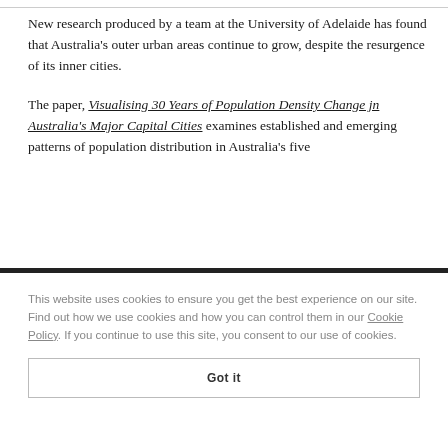New research produced by a team at the University of Adelaide has found that Australia's outer urban areas continue to grow, despite the resurgence of its inner cities.
The paper, Visualising 30 Years of Population Density Change jn Australia's Major Capital Cities examines established and emerging patterns of population distribution in Australia's five
This website uses cookies to ensure you get the best experience on our site. Find out how we use cookies and how you can control them in our Cookie Policy. If you continue to use this site, you consent to our use of cookies.
Got it